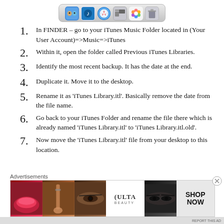[Figure (illustration): macOS dock bar with app icons: Finder, iTunes, Safari, a sharing/action icon, Photos, and Trash]
In FINDER – go to your iTunes Music Folder located in (Your User Account)=>Music=>iTunes
Within it, open the folder called Previous iTunes Libraries.
Identify the most recent backup. It has the date at the end.
Duplicate it. Move it to the desktop.
Rename it as 'iTunes Library.itl'. Basically remove the date from the file name.
Go back to your iTunes Folder and rename the file there which is already named 'iTunes Library.itl' to 'iTunes Library.itl.old'.
Now move the 'iTunes Library.itl' file from your desktop to this location.
Advertisements
[Figure (illustration): Ulta Beauty advertisement banner showing makeup and beauty imagery with SHOP NOW call to action]